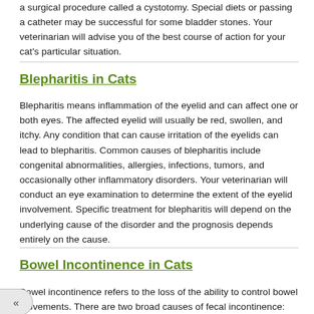a surgical procedure called a cystotomy. Special diets or passing a catheter may be successful for some bladder stones. Your veterinarian will advise you of the best course of action for your cat's particular situation.
Blepharitis in Cats
Blepharitis means inflammation of the eyelid and can affect one or both eyes. The affected eyelid will usually be red, swollen, and itchy. Any condition that can cause irritation of the eyelids can lead to blepharitis. Common causes of blepharitis include congenital abnormalities, allergies, infections, tumors, and occasionally other inflammatory disorders. Your veterinarian will conduct an eye examination to determine the extent of the eyelid involvement. Specific treatment for blepharitis will depend on the underlying cause of the disorder and the prognosis depends entirely on the cause.
Bowel Incontinence in Cats
Bowel incontinence refers to the loss of the ability to control bowel movements. There are two broad causes of fecal incontinence: reservoir incontinence and sphincter incontinence. In reservoir incontinence, intestinal disease interferes with the rectum's ability to store normal volumes of feces. In sphincter incontinence, a structural or neurologic lesion prevents the anal sphincter from closing normally. Clinical signs